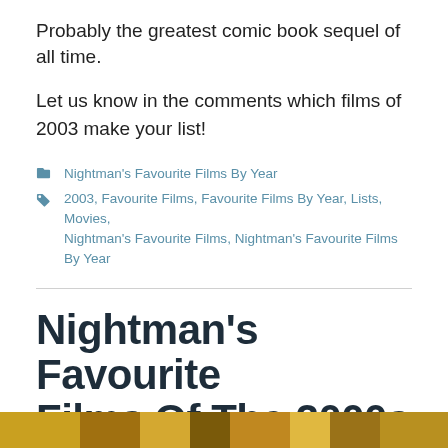Probably the greatest comic book sequel of all time.
Let us know in the comments which films of 2003 make your list!
Nightman's Favourite Films By Year
2003, Favourite Films, Favourite Films By Year, Lists, Movies, Nightman's Favourite Films, Nightman's Favourite Films By Year
Nightman's Favourite Films Of The 2000s
February 7, 2019   carlosnightman   2 Comments
[Figure (photo): Partial bottom strip of an image, appears to be a film-related photo with warm golden/brown tones]